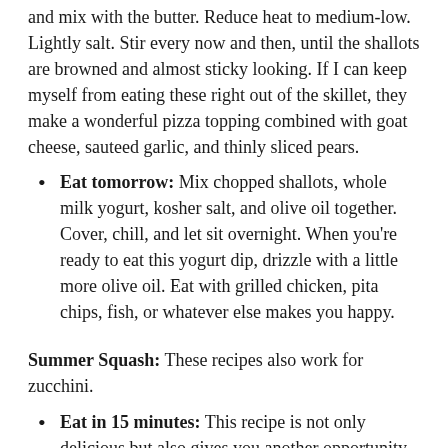and mix with the butter. Reduce heat to medium-low. Lightly salt. Stir every now and then, until the shallots are browned and almost sticky looking. If I can keep myself from eating these right out of the skillet, they make a wonderful pizza topping combined with goat cheese, sauteed garlic, and thinly sliced pears.
Eat tomorrow: Mix chopped shallots, whole milk yogurt, kosher salt, and olive oil together. Cover, chill, and let sit overnight. When you're ready to eat this yogurt dip, drizzle with a little more olive oil. Eat with grilled chicken, pita chips, fish, or whatever else makes you happy.
Summer Squash: These recipes also work for zucchini.
Eat in 15 minutes: This recipe is not only delicious but also gives you another opportunity to experience the way fresh herbs can transform vegetables: Sauteed Summer Squash with Fresh